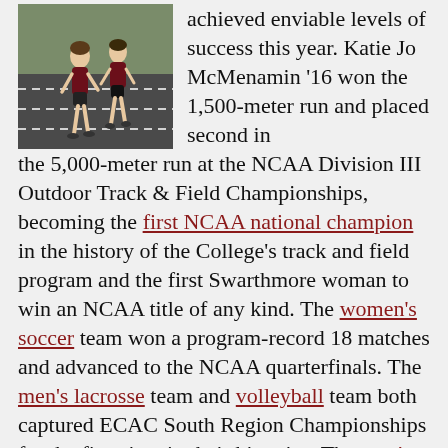[Figure (photo): Two female runners on a track, wearing athletic uniforms, competing in a race.]
achieved enviable levels of success this year. Katie Jo McMenamin '16 won the 1,500-meter run and placed second in the 5,000-meter run at the NCAA Division III Outdoor Track & Field Championships, becoming the first NCAA national champion in the history of the College's track and field program and the first Swarthmore woman to win an NCAA title of any kind. The women's soccer team won a program-record 18 matches and advanced to the NCAA quarterfinals. The men's lacrosse team and volleyball team both captured ECAC South Region Championships for the first time in their histories. The men's basketball team recorded the program's best season in two decades. Read more athletics news.